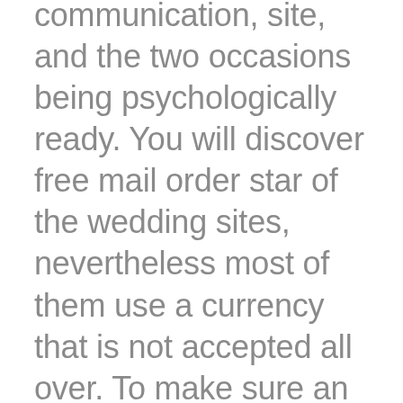communication, site, and the two occasions being psychologically ready. You will discover free mail order star of the wedding sites, nevertheless most of them use a currency that is not accepted all over. To make sure an individual waste your time and efforts and funds, you should know exactly how much every single service can cost you before signing up.
To begin with, you should know